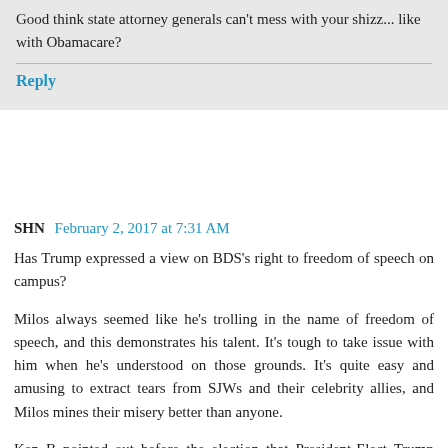Good think state attorney generals can't mess with your shizz... like with Obamacare?
Reply
SHN  February 2, 2017 at 7:31 AM
Has Trump expressed a view on BDS's right to freedom of speech on campus?
Milos always seemed like he's trolling in the name of freedom of speech, and this demonstrates his talent. It's tough to take issue with him when he's understood on those grounds. It's quite easy and amusing to extract tears from SJWs and their celebrity allies, and Milos mines their misery better than anyone.
Ken B pointed out before the election that President-Elect Trump would be worth it for the liberal meltdowns alone. Months after the election, Milos and others continue to prove Ken's still right.